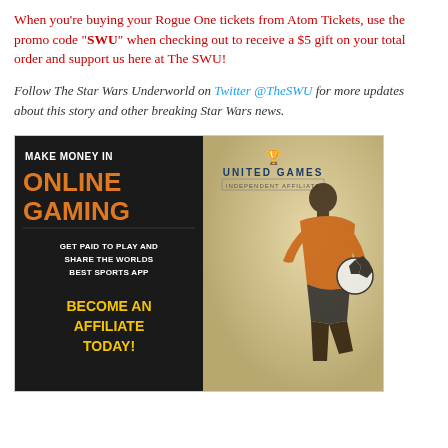When you're buying your Rogue One tickets from Atom Tickets, use the promo code "SWU" when checking out to receive a $5 gift on your total order and support us here at The SWU!
Follow The Star Wars Underworld on Twitter @TheSWU for more updates about this story and other breaking Star Wars news.
[Figure (advertisement): United Games Independent Affiliate advertisement: Make Money in Online Gaming. Get paid to play and share the worlds best sports app. Become an Affiliate Today! Features a soccer player juggling a ball.]